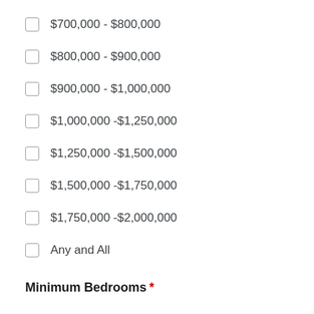$700,000 - $800,000
$800,000 - $900,000
$900,000 - $1,000,000
$1,000,000 -$1,250,000
$1,250,000 -$1,500,000
$1,500,000 -$1,750,000
$1,750,000 -$2,000,000
Any and All
Minimum Bedrooms *
One
Two
Three
Four
Five